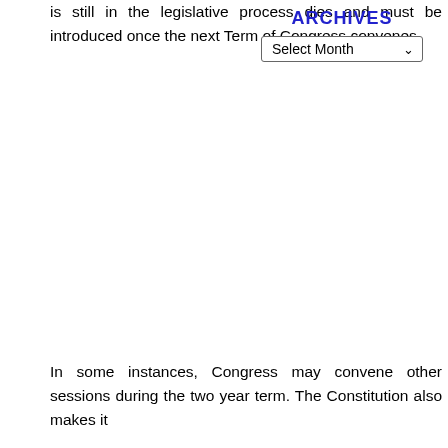is still in the legislative process dies and must be introduced once the next Term of Congress convenes.
ARCHIVES
Select Month
In some instances, Congress may convene other sessions during the two year term. The Constitution also makes it